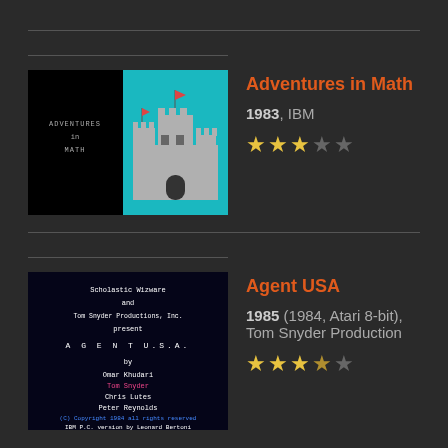[Figure (screenshot): Adventures in Math game screenshot showing title screen and castle graphic on teal background]
Adventures in Math
1983, IBM
[Figure (other): Star rating: 3 out of 5 stars]
[Figure (screenshot): Agent USA game title screen with Scholastic Wizware credits]
Agent USA
1985 (1984, Atari 8-bit), Tom Snyder Production
[Figure (other): Star rating: 3.5 out of 5 stars]